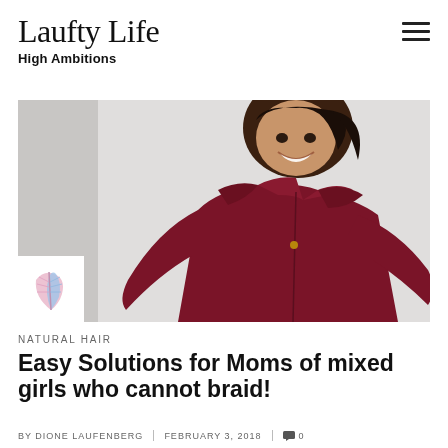Laufty Life
High Ambitions
[Figure (photo): A young mixed-race girl smiling, wearing a dark red/maroon zip-up jacket, photographed against a light grey/white background. A small logo with a feather graphic appears in the lower left of the image.]
NATURAL HAIR
Easy Solutions for Moms of mixed girls who cannot braid!
BY DIONE LAUFENBERG | FEBRUARY 3, 2018 | 🗨 0